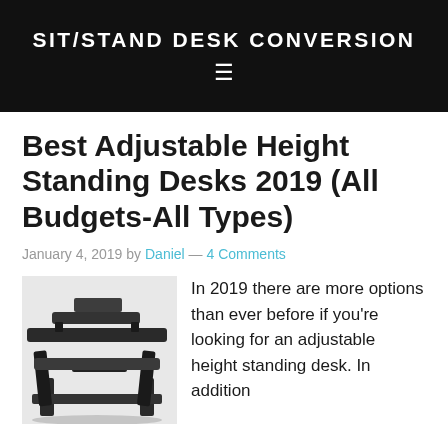SIT/STAND DESK CONVERSION
Best Adjustable Height Standing Desks 2019 (All Budgets-All Types)
January 4, 2019 by Daniel — 4 Comments
[Figure (photo): Photo of a black sit/stand desk converter with adjustable height, showing a tiered platform design with keyboard tray]
In 2019 there are more options than ever before if you're looking for an adjustable height standing desk. In addition